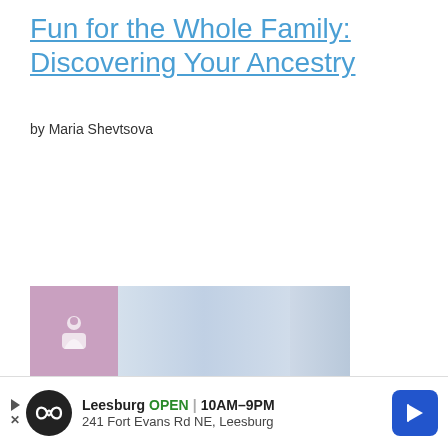Fun for the Whole Family: Discovering Your Ancestry
by Maria Shevtsova
[Figure (photo): Partial view of a lifestyle photo with a pink/purple patterned background on the left and a light blue/white curtained background on the right, with some flowers visible at the bottom.]
[Figure (infographic): Advertisement bar: Leesburg OPEN 10AM-9PM | 241 Fort Evans Rd NE, Leesburg. Shows a circular logo with an infinity/sunglasses icon and a blue navigation arrow icon on the right.]